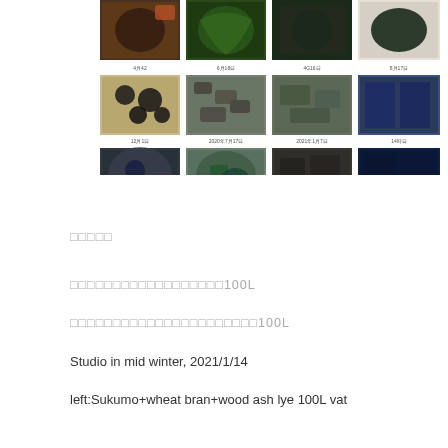[Figure (photo): A 3x4 grid of photos showing indigo dye (sukumo) at various stages: raw plant material, dried balls, fermenting vats, and finished dyed fabric. Each photo has a date or label caption beneath it.]
□□□□□
□□□□□□□□□□□□□□□□□□100L
□□□□□□□□□□□□□□□□□□□□□□100L
Studio in mid winter, 2021/1/14
left:Sukumo+wheat bran+wood ash lye 100L vat